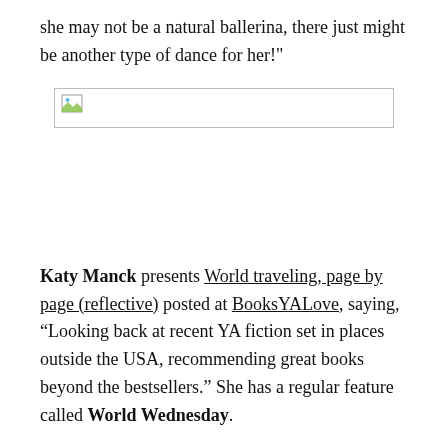she may not be a natural ballerina, there just might be another type of dance for her!"
[Figure (photo): Broken image placeholder showing a small image icon with a border, indicating a missing or unloaded image.]
Katy Manck presents World traveling, page by page (reflective) posted at BooksYALove, saying, “Looking back at recent YA fiction set in places outside the USA, recommending great books beyond the bestsellers.” She has a regular feature called World Wednesday.